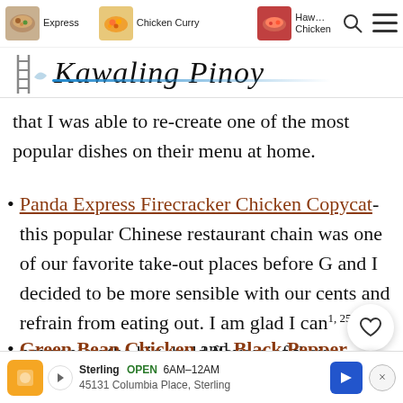Kawaling Pinoy — navigation header with food images: Express, Chicken Curry, Chicken
that I was able to re-create one of the most popular dishes on their menu at home.
Panda Express Firecracker Chicken Copycat- this popular Chinese restaurant chain was one of our favorite take-out places before G and I decided to be more sensible with our cents and refrain from eating out. I am glad I can1,258 now enjoy the big, bold flavors of their firecracker chicken for less.
Green Bean Chicken and Black Pepper Ch...
Sterling OPEN 6AM–12AM 45131 Columbia Place, Sterling